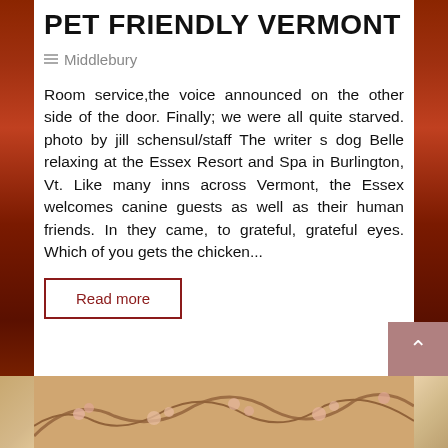PET FRIENDLY VERMONT
Middlebury
Room service,the voice announced on the other side of the door. Finally; we were all quite starved. photo by jill schensul/staff The writer s dog Belle relaxing at the Essex Resort and Spa in Burlington, Vt. Like many inns across Vermont, the Essex welcomes canine guests as well as their human friends. In they came, to grateful, grateful eyes. Which of you gets the chicken...
Read more
[Figure (photo): Decorative floral/nature image at the bottom of the page with warm pink and brown tones showing tree branches with blossoms]